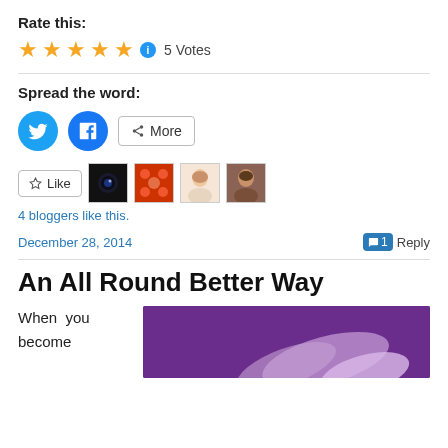Rate this:
★★★★★ ⓘ 5 Votes
Spread the word:
[Figure (infographic): Twitter and Facebook share buttons, plus a More button with share icon]
[Figure (infographic): Like button with star icon, followed by four blogger avatar thumbnails]
4 bloggers like this.
December 28, 2014
1 Reply
An All Round Better Way
When you become
[Figure (photo): Purple background image showing light purple/lavender colored legs or limbs]